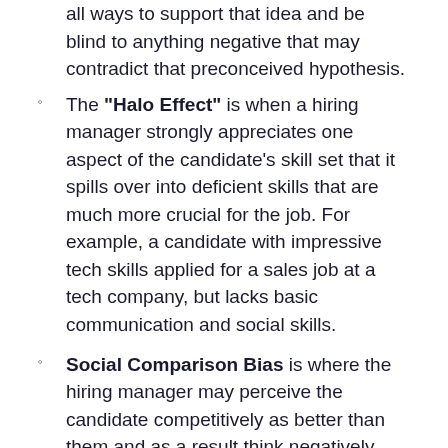all ways to support that idea and be blind to anything negative that may contradict that preconceived hypothesis.
The "Halo Effect" is when a hiring manager strongly appreciates one aspect of the candidate's skill set that it spills over into deficient skills that are much more crucial for the job. For example, a candidate with impressive tech skills applied for a sales job at a tech company, but lacks basic communication and social skills.
Social Comparison Bias is where the hiring manager may perceive the candidate competitively as better than them and as a result think negatively toward them. With this type of bias, the hiring manager could lose out on a great hire.
Chasing Perfection